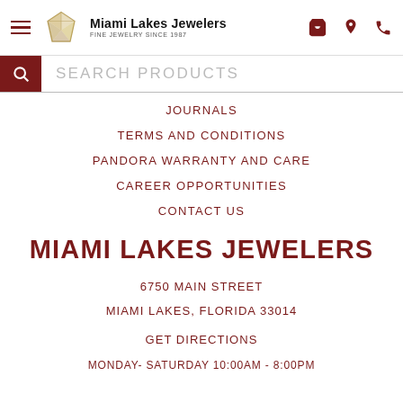Miami Lakes Jewelers — Fine Jewelry Since 1987
SEARCH PRODUCTS
JOURNALS
TERMS AND CONDITIONS
PANDORA WARRANTY AND CARE
CAREER OPPORTUNITIES
CONTACT US
MIAMI LAKES JEWELERS
6750 MAIN STREET
MIAMI LAKES, FLORIDA 33014
GET DIRECTIONS
MONDAY- SATURDAY 10:00AM - 8:00PM